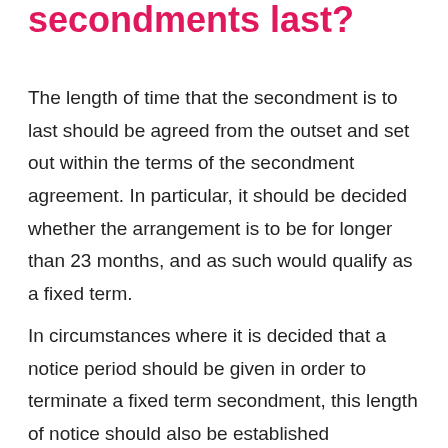secondments last?
The length of time that the secondment is to last should be agreed from the outset and set out within the terms of the secondment agreement. In particular, it should be decided whether the arrangement is to be for longer than 23 months, and as such would qualify as a fixed term.
In circumstances where it is decided that a notice period should be given in order to terminate a fixed term secondment, this length of notice should also be established